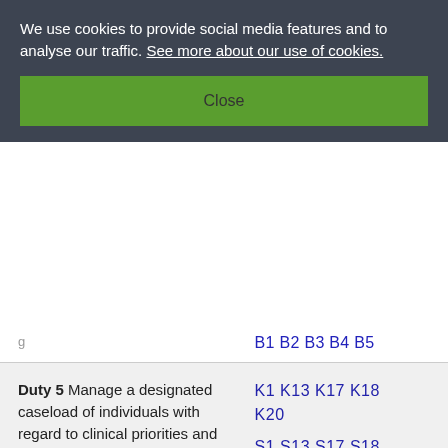We use cookies to provide social media features and to analyse our traffic. See more about our use of cookies.
Close
B1 B2 B3 B4 B5
Duty 5 Manage a designated caseload of individuals with regard to clinical priorities and use of time
K1 K13 K17 K18 K20
S1 S13 S17 S18
B1 B3 B4 B5
Duty 6 Collaborate with individuals to set dietary targets to improve patient compliance
K9 K10 K11 K12
S7 S10 S11 S12
B1 B2 B3 B4 B5